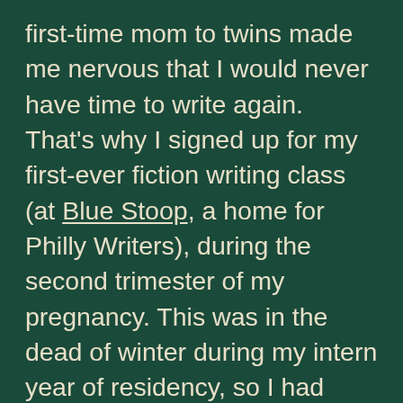first-time mom to twins made me nervous that I would never have time to write again. That's why I signed up for my first-ever fiction writing class (at Blue Stoop, a home for Philly Writers), during the second trimester of my pregnancy. This was in the dead of winter during my intern year of residency, so I had absolutely no time for it, but I ignored that. I thought I would never have time after the twins were born, so this was the only time. But just like I didn't really know anything about parenting until after they were born, I didn't know that when you